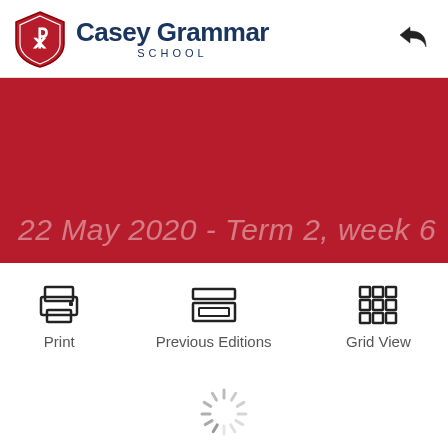Casey Grammar School
[Figure (other): Red banner with date text: 22 May 2020 - Term 2, week 6]
22 May 2020 - Term 2, week 6
Print
Previous Editions
Grid View
[Figure (other): Loading spinner indicator]